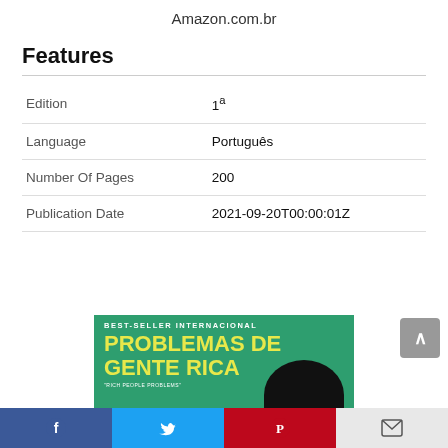Amazon.com.br
Features
| Edition | 1ª |
| Language | Português |
| Number Of Pages | 200 |
| Publication Date | 2021-09-20T00:00:01Z |
[Figure (photo): Book cover: BEST-SELLER INTERNACIONAL - PROBLEMAS DE GENTE RICA, green background with large yellow bold title text and a dark silhouette figure]
Facebook Twitter Pinterest Email social share bar